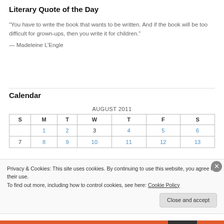Literary Quote of the Day
“You have to write the book that wants to be written. And if the book will be too difficult for grown-ups, then you write it for children.”
— Madeleine L’Engle
Calendar
| S | M | T | W | T | F | S |
| --- | --- | --- | --- | --- | --- | --- |
|  | 1 | 2 | 3 | 4 | 5 | 6 |
| 7 | 8 | 9 | 10 | 11 | 12 | 13 |
Privacy & Cookies: This site uses cookies. By continuing to use this website, you agree to their use.
To find out more, including how to control cookies, see here: Cookie Policy
Close and accept